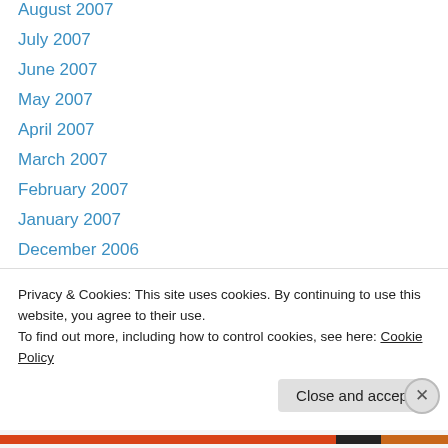August 2007
July 2007
June 2007
May 2007
April 2007
March 2007
February 2007
January 2007
December 2006
November 2006
October 2006
September 2006
June 2006
May 2006
Privacy & Cookies: This site uses cookies. By continuing to use this website, you agree to their use.
To find out more, including how to control cookies, see here: Cookie Policy
Close and accept